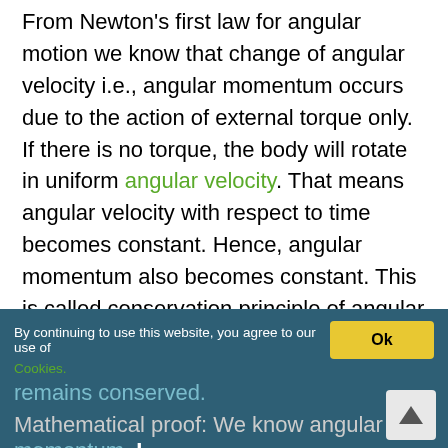From Newton's first law for angular motion we know that change of angular velocity i.e., angular momentum occurs due to the action of external torque only. If there is no torque, the body will rotate in uniform angular velocity. That means angular velocity with respect to time becomes constant. Hence, angular momentum also becomes constant. This is called conservation principle of angular momentum. So it can be said that if resultant of the torque on a body is zero, the angular momentum remains conserved.
By continuing to use this website, you agree to our use of Cookies.
Mathematical proof: We know angular momentum, L = Iω ... ... ... (1)
Here L is the angular momentum of the body, 'I' is the